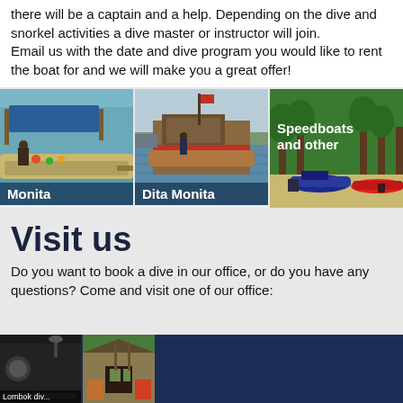there will be a captain and a help. Depending on the dive and snorkel activities a dive master or instructor will join.
Email us with the date and dive program you would like to rent the boat for and we will make you a great offer!
[Figure (photo): Three side-by-side photos of boats: left is 'Monita' (a traditional bangka-style boat), center is 'Dita Monita' (boat at dock on water), right is 'Speedboats and other' (speedboats on a beach with trees)]
Visit us
Do you want to book a dive in our office, or do you have any questions? Come and visit one of our office:
[Figure (photo): Bottom strip showing partial photos of a dive shop/office on the left (dark building, colorful shops) and a dark blue background on the right, with partial text 'Lombok div...' visible]